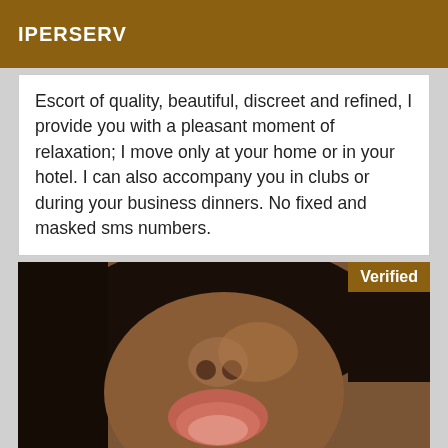IPERSERV
Escort of quality, beautiful, discreet and refined, I provide you with a pleasant moment of relaxation; I move only at your home or in your hotel. I can also accompany you in clubs or during your business dinners. No fixed and masked sms numbers.
[Figure (photo): Close-up photo of a person's face with mouth open and tongue out, wearing a necklace. A 'Verified' badge appears in the top-right corner.]
online fun